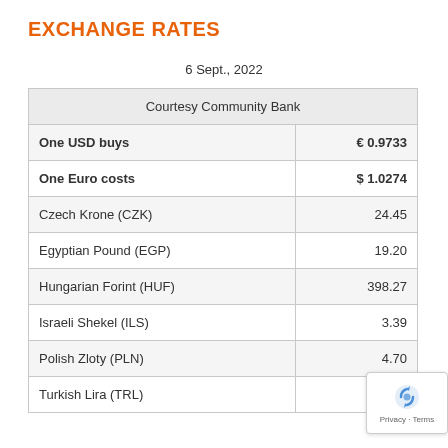EXCHANGE RATES
6 Sept., 2022
| Courtesy Community Bank |  |
| --- | --- |
| One USD buys | € 0.9733 |
| One Euro costs | $ 1.0274 |
| Czech Krone (CZK) | 24.45 |
| Egyptian Pound (EGP) | 19.20 |
| Hungarian Forint (HUF) | 398.27 |
| Israeli Shekel (ILS) | 3.39 |
| Polish Zloty (PLN) | 4.70 |
| Turkish Lira (TRL) |  |